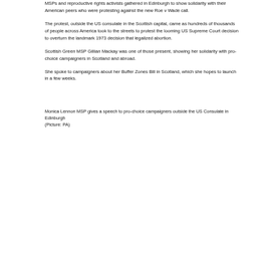MSPs and reproductive rights activists gathered in Edinburgh to show solidarity with their American peers who were protesting against the new Roe v Wade call.
The protest, outside the US consulate in the Scottish capital, came as hundreds of thousands of people across America took to the streets to protest the looming US Supreme Court decision to overturn the landmark 1973 decision that legalized abortion.
Scottish Green MSP Gillian Mackay was one of those present, showing her solidarity with pro-choice campaigners in Scotland and abroad.
She spoke to campaigners about her Buffer Zones Bill in Scotland, which she hopes to launch in a few weeks.
Monica Lennon MSP gives a speech to pro-choice campaigners outside the US Consulate in Edinburgh
(Picture: PA)